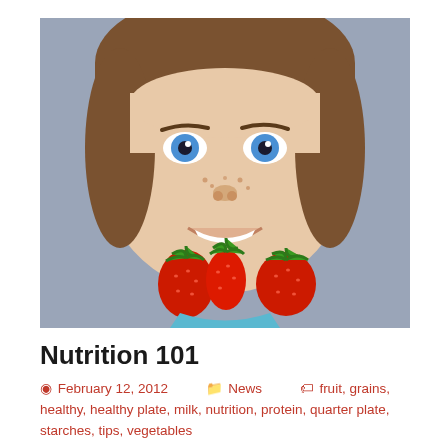[Figure (photo): Close-up photo of a young boy with blue eyes holding three strawberries in his mouth like a beard/mustache, smiling, against a gray background.]
Nutrition 101
February 12, 2012   News   fruit, grains, healthy, healthy plate, milk, nutrition, protein, quarter plate, starches, tips, vegetables